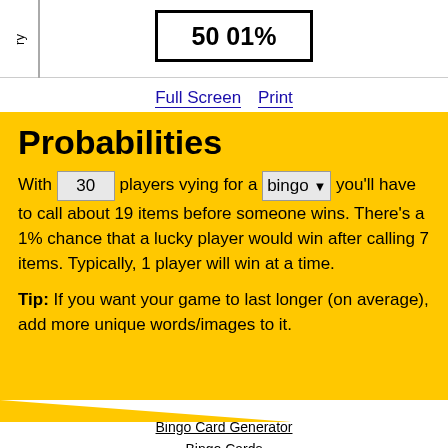[Figure (other): Top bar with rotated 'ry' label on left and a box showing '50 01%' in bold]
Full Screen   Print
Probabilities
With 30 players vying for a bingo you'll have to call about 19 items before someone wins. There's a 1% chance that a lucky player would win after calling 7 items. Typically, 1 player will win at a time.
Tip: If you want your game to last longer (on average), add more unique words/images to it.
Bingo Card Generator
Bingo Cards
Help
Legal
Login/Sign Up